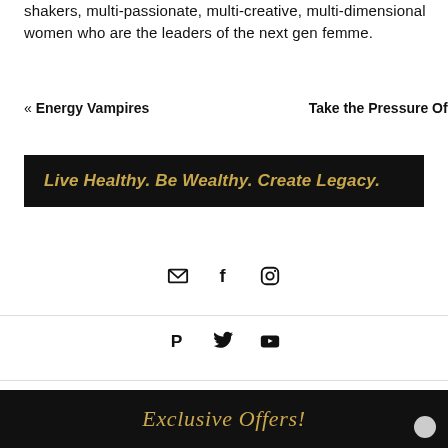shakers, multi-passionate, multi-creative, multi-dimensional women who are the leaders of the next gen femme.
« Energy Vampires    Take the Pressure Off »
[Figure (infographic): Black banner with gold italic bold text: Live Healthy. Be Wealthy. Create Legacy.]
[Figure (infographic): Social media icons row 1: email envelope, Facebook f, Instagram camera]
[Figure (infographic): Social media icons row 2: Pinterest P, Twitter bird, YouTube play button]
[Figure (infographic): Black bottom banner with gold cursive script text: Exclusive Offers! with gray circle button]